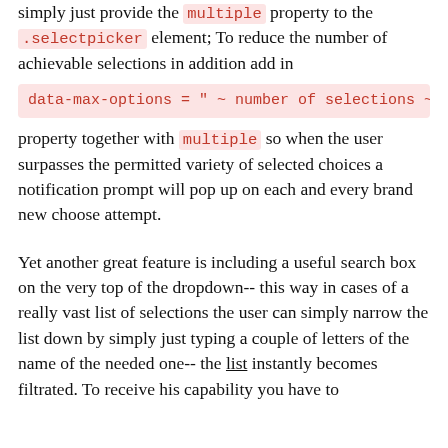simply just provide the multiple property to the .selectpicker element; To reduce the number of achievable selections in addition add in data-max-options = " ~ number of selections ~ " property together with multiple so when the user surpasses the permitted variety of selected choices a notification prompt will pop up on each and every brand new choose attempt.
Yet another great feature is including a useful search box on the very top of the dropdown-- this way in cases of a really vast list of selections the user can simply narrow the list down by simply just typing a couple of letters of the name of the needed one-- the list instantly becomes filtrated. To receive his capability you have to